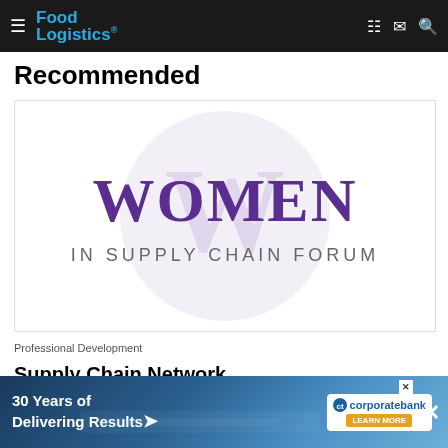Food Logistics
Recommended
[Figure (logo): Women in Supply Chain Forum logo — large purple text 'WOMEN' with 'IN SUPPLY CHAIN FORUM' below in gray, set against a light lavender circular watermark background]
Professional Development
Supply Chain Network Launches Women in Supply
[Figure (advertisement): Corporate bank advertisement: '30 Years of Delivering Results' with truck image and corporatebank logo, learn more button]